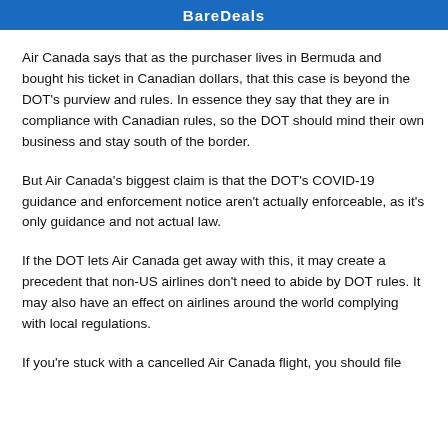BareDeals
Air Canada says that as the purchaser lives in Bermuda and bought his ticket in Canadian dollars, that this case is beyond the DOT's purview and rules. In essence they say that they are in compliance with Canadian rules, so the DOT should mind their own business and stay south of the border.
But Air Canada's biggest claim is that the DOT's COVID-19 guidance and enforcement notice aren't actually enforceable, as it's only guidance and not actual law.
If the DOT lets Air Canada get away with this, it may create a precedent that non-US airlines don't need to abide by DOT rules. It may also have an effect on airlines around the world complying with local regulations.
If you're stuck with a cancelled Air Canada flight, you should file